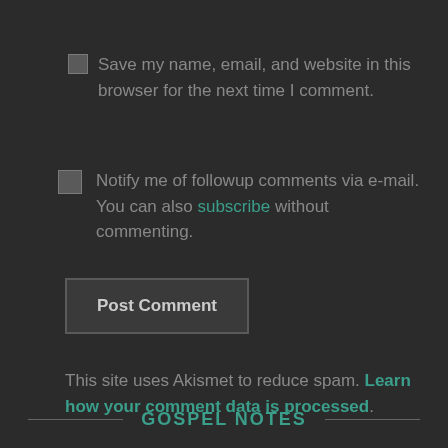Save my name, email, and website in this browser for the next time I comment.
Notify me of followup comments via e-mail. You can also subscribe without commenting.
Post Comment
This site uses Akismet to reduce spam. Learn how your comment data is processed.
GOSPEL NOTES